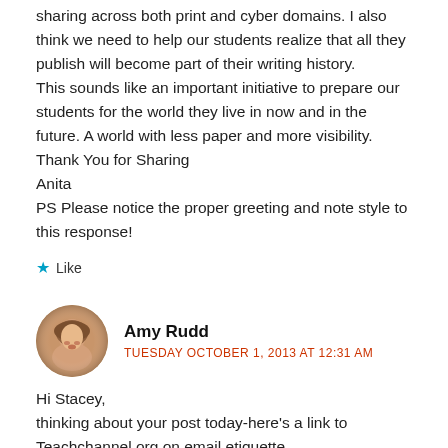sharing across both print and cyber domains. I also think we need to help our students realize that all they publish will become part of their writing history.
This sounds like an important initiative to prepare our students for the world they live in now and in the future. A world with less paper and more visibility.
Thank You for Sharing
Anita
PS Please notice the proper greeting and note style to this response!
Like
Amy Rudd
TUESDAY OCTOBER 1, 2013 AT 12:31 AM
Hi Stacey,
thinking about your post today-here's a link to Teachchannel.org on email etiquette